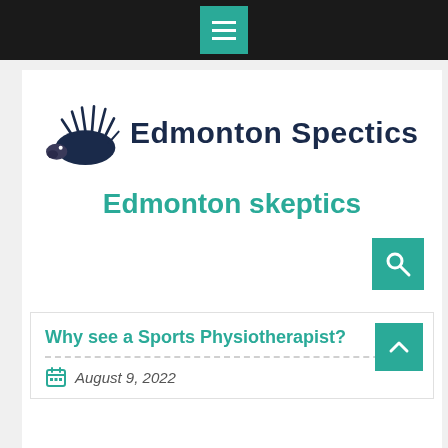[Figure (screenshot): Top navigation bar with hamburger menu icon on dark background]
[Figure (logo): Edmonton Spectics logo with hedgehog/porcupine silhouette and text 'Edmonton Spectics']
Edmonton skeptics
[Figure (other): Search button icon (magnifying glass) on teal background]
Why see a Sports Physiotherapist?
August 9, 2022